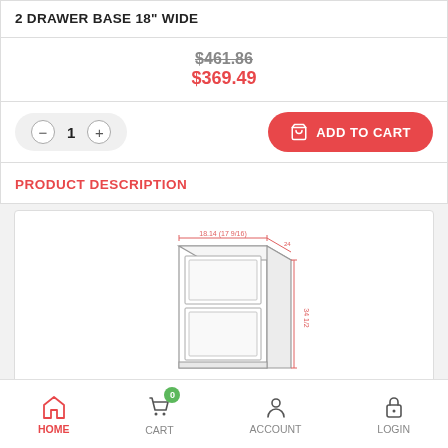2 DRAWER BASE 18" WIDE
$461.86 (strikethrough) $369.49
Quantity: 1, ADD TO CART
PRODUCT DESCRIPTION
[Figure (engineering-diagram): Line drawing of a 2-drawer base cabinet 18 inches wide, showing front and perspective view with dimension lines indicating width and height.]
HOME  CART (0)  ACCOUNT  LOGIN